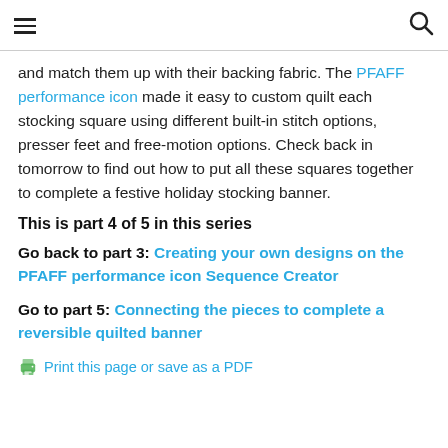[hamburger menu icon] [search icon]
and match them up with their backing fabric. The PFAFF performance icon made it easy to custom quilt each stocking square using different built-in stitch options, presser feet and free-motion options. Check back in tomorrow to find out how to put all these squares together to complete a festive holiday stocking banner.
This is part 4 of 5 in this series
Go back to part 3: Creating your own designs on the PFAFF performance icon Sequence Creator
Go to part 5: Connecting the pieces to complete a reversible quilted banner
Print this page or save as a PDF